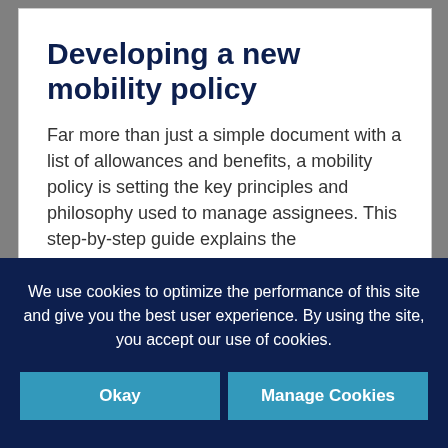Developing a new mobility policy
Far more than just a simple document with a list of allowances and benefits, a mobility policy is setting the key principles and philosophy used to manage assignees. This step-by-step guide explains the considerations
We use cookies to optimize the performance of this site and give you the best user experience. By using the site, you accept our use of cookies.
Okay
Manage Cookies